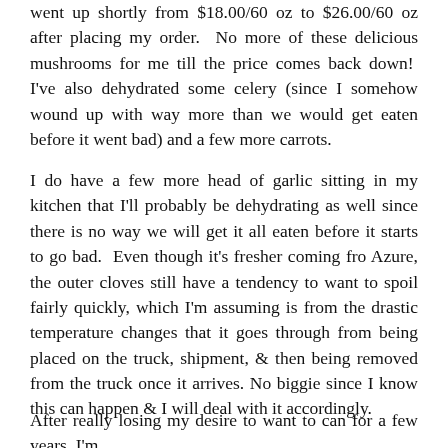went up shortly from $18.00/60 oz to $26.00/60 oz after placing my order.  No more of these delicious mushrooms for me till the price comes back down!  I've also dehydrated some celery (since I somehow wound up with way more than we would get eaten before it went bad) and a few more carrots.
I do have a few more head of garlic sitting in my kitchen that I'll probably be dehydrating as well since there is no way we will get it all eaten before it starts to go bad.  Even though it's fresher coming fro Azure, the outer cloves still have a tendency to want to spoil fairly quickly, which I'm assuming is from the drastic temperature changes that it goes through from being placed on the truck, shipment, & then being removed from the truck once it arrives. No biggie since I know this can happen & I will deal with it accordingly.
After really losing my desire to want to can for a few years, I'm